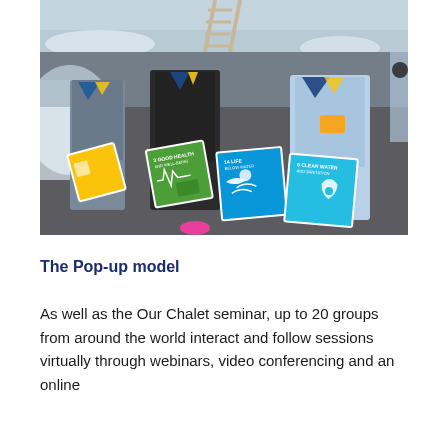[Figure (photo): Scouts or youth group members outdoors in winter/snowy setting holding SDG (Sustainable Development Goals) cards: a yellow card, a green card (SDG 3), a blue-green card (SDG 14 Life Below Water), and a teal card (SDG 6 Clean Water and Sanitation). People are wearing scout neckerchiefs and lanyards.]
The Pop-up model
As well as the Our Chalet seminar, up to 20 groups from around the world interact and follow sessions virtually through webinars, video conferencing and an online